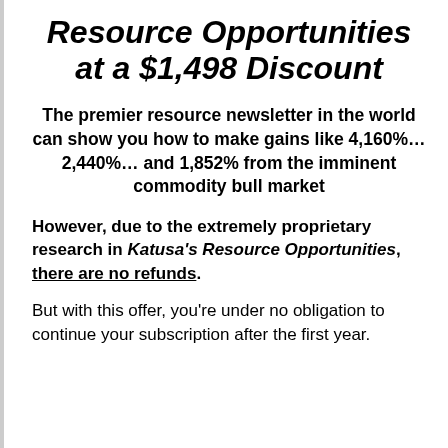Resource Opportunities at a $1,498 Discount
The premier resource newsletter in the world can show you how to make gains like 4,160%… 2,440%… and 1,852% from the imminent commodity bull market
However, due to the extremely proprietary research in Katusa's Resource Opportunities, there are no refunds.
But with this offer, you're under no obligation to continue your subscription after the first year.